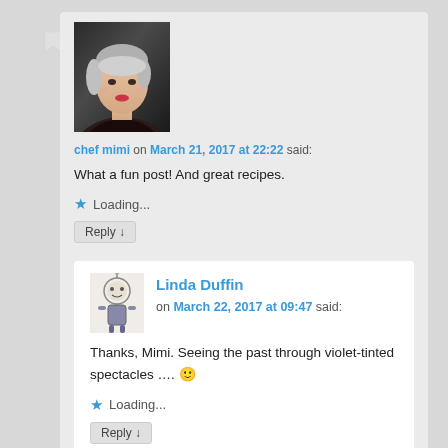[Figure (photo): Avatar photo of chef mimi, a woman with short gray hair]
chef mimi on March 21, 2017 at 22:22 said:
What a fun post! And great recipes.
Loading...
Reply ↓
[Figure (illustration): Small robot or cartoon avatar illustration for Linda Duffin]
Linda Duffin on March 22, 2017 at 09:47 said:
Thanks, Mimi. Seeing the past through violet-tinted spectacles .... 🙂
Loading...
Reply ↓